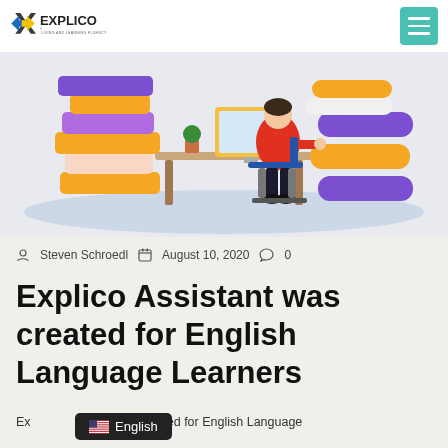EXPLICO® LIVING AND LEARNING FLUENCY
[Figure (illustration): Colorful illustration of a person sitting at a desk working on a computer, surrounded by stacked books in orange, purple, and white colors against a light blue background]
Steven Schroedl  August 10, 2020  0
Explico Assistant was created for English Language Learners
Explico Assistant was created for English Language